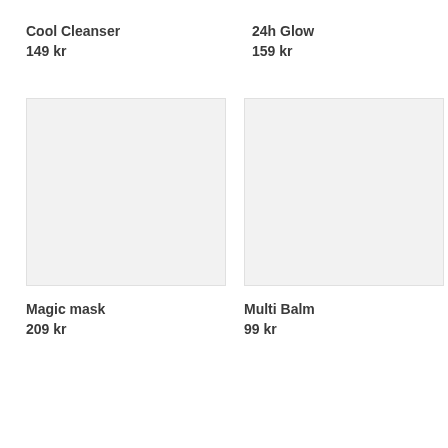Cool Cleanser
149 kr
24h Glow
159 kr
[Figure (photo): Product image placeholder for Cool Cleanser — light grey rectangle]
[Figure (photo): Product image placeholder for 24h Glow — light grey rectangle]
Magic mask
209 kr
Multi Balm
99 kr